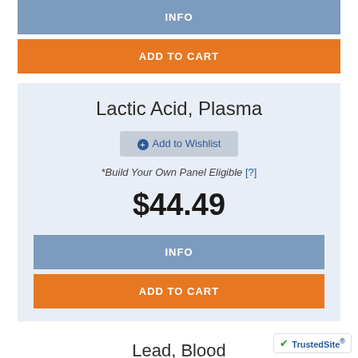INFO
ADD TO CART
Lactic Acid, Plasma
+ Add to Wishlist
*Build Your Own Panel Eligible [?]
$44.49
INFO
ADD TO CART
Lead, Blood
+ Add to Wishlist
*Build Your Own Panel Eligible [?]
$54.99